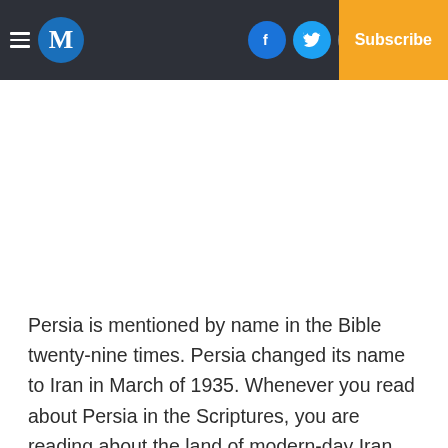M | Log In | Subscribe
Persia is mentioned by name in the Bible twenty-nine times. Persia changed its name to Iran in March of 1935. Whenever you read about Persia in the Scriptures, you are reading about the land of modern-day Iran.